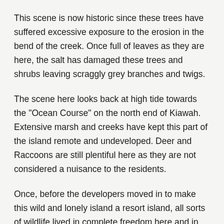This scene is now historic since these trees have suffered excessive exposure to the erosion in the bend of the creek. Once full of leaves as they are here, the salt has damaged these trees and shrubs leaving scraggly grey branches and twigs.
The scene here looks back at high tide towards the "Ocean Course" on the north end of Kiawah. Extensive marsh and creeks have kept this part of the island remote and undeveloped. Deer and Raccoons are still plentiful here as they are not considered a nuisance to the residents.
Once, before the developers moved in to make this wild and lonely island a resort island, all sorts of wildlife lived in complete freedom here and in great numbers. Most were considered troublesome to these newcomers and most have had to escape or be hunted down.